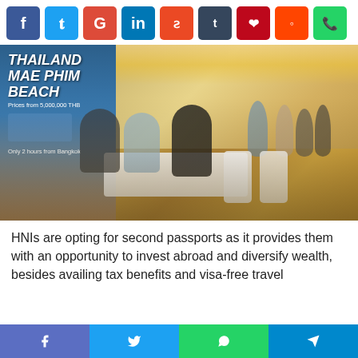[Figure (other): Social media sharing buttons: Facebook (blue), Twitter (light blue), Google+ (red), LinkedIn (dark blue), StumbleUpon (orange-red), Tumblr (dark navy), Pinterest (dark red), Reddit (orange-red), WhatsApp (green)]
[Figure (photo): Photo of a real estate exhibition or property investment event in a hotel ballroom. A banner reads 'THAILAND MAE PHIM BEACH Prices from 5,000,000 THB Only 2 hours from Bangkok'. People are seated at tables examining materials; others are standing in the background.]
HNIs are opting for second passports as it provides them with an opportunity to invest abroad and diversify wealth, besides availing tax benefits and visa-free travel
[Figure (other): Bottom mobile sharing bar with four buttons: Facebook (purple-blue), Twitter (blue), WhatsApp (green), Telegram (blue)]